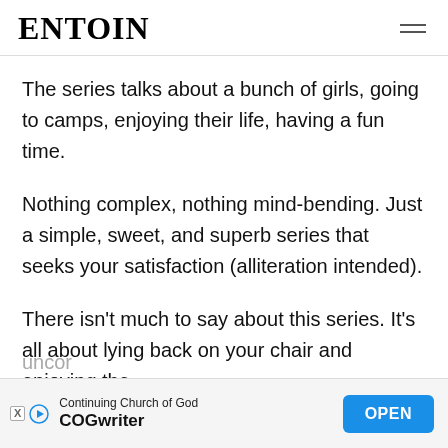ENTOIN
The series talks about a bunch of girls, going to camps, enjoying their life, having a fun time.
Nothing complex, nothing mind-bending. Just a simple, sweet, and superb series that seeks your satisfaction (alliteration intended).
There isn't much to say about this series. It's all about lying back on your chair and enjoying the uncon[tinued]
[Figure (other): Advertisement banner for COGwriter (Continuing Church of God) with an OPEN button]